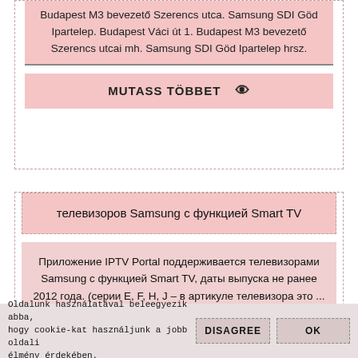Budapest M3 bevezető Szerencs utca. Samsung SDI Göd Ipartelep. Budapest Váci út 1. Budapest M3 bevezető Szerencs utcai mh. Samsung SDI Göd Ipartelep hrsz.
MUTASS TÖBBET 👁
телевизоров Samsung с функцией Smart TV
Приложение IPTV Portal поддерживается телевизорами Samsung с функцией Smart TV, даты выпуска не ранее 2012 года. (серии E, F, H, J – в артикуле телевизора это ...
Oldalunk használatával beleegyezik abba, hogy cookie-kat használjunk a jobb oldali élmény érdekében.
DISAGREE
OK